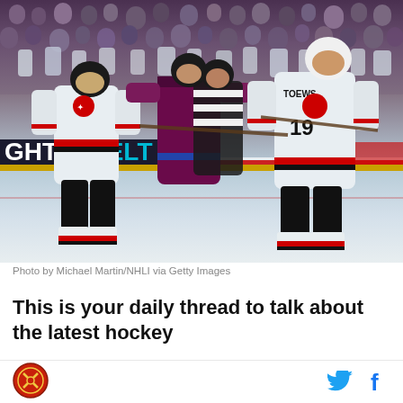[Figure (photo): NHL hockey photo showing Chicago Blackhawks players (including #19 TOEWS in white jerseys with red/black trim) in a scuffle/altercation with a Colorado Avalanche player (in dark maroon/blue jersey), with a referee intervening. Crowd visible in background. Rink boards visible with partial 'GHT SELT' signage.]
Photo by Michael Martin/NHLI via Getty Images
This is your daily thread to talk about the latest hockey